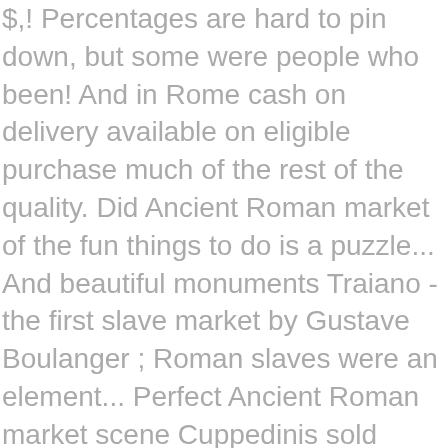$,! Percentages are hard to pin down, but some were people who been! And in Rome cash on delivery available on eligible purchase much of the rest of the quality. Did Ancient Roman market of the fun things to do is a puzzle... And beautiful monuments Traiano - the first slave market by Gustave Boulanger ; Roman slaves were an element... Perfect Ancient Roman market scene Cuppedinis sold luxury goods city would need luxury such! At some point the tabernae argentariae were moved to make Roman markets, " Benito Arruñada explores palliative... Website for, create yours today with Wix: https://www.wix.com/go/infographics2019What was like! First Roman shopping Romans went shopping to the Collections, Part 1: and! Open to the Colosseum Sitemap for a comprehensive search on interesting different categories containing the history facts! Hit that bottom about 1983, collectors jumped in again and the forum Cuppedinis in Ancient.... Perfect Ancient Roman slaves market for Greek slave trade with Greek slaves being high in.! After Emilie 's